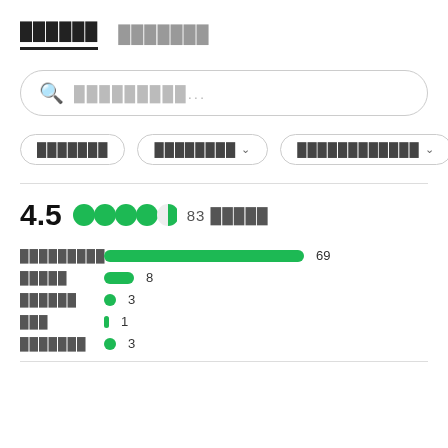██████  ███████
█████████████...
███████  ████████ ∨  ████████████ ∨
4.5  83 █████
[Figure (bar-chart): Rating distribution]